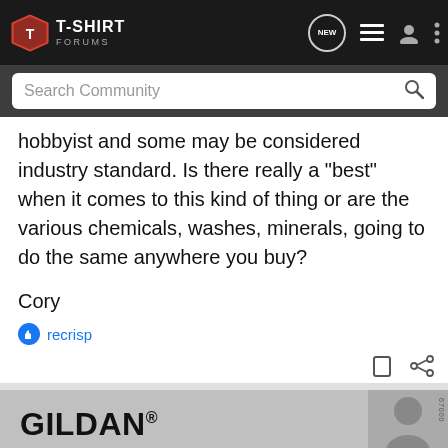T-SHIRT FORUMS
hobbyist and some may be considered industry standard. Is there really a "best" when it comes to this kind of thing or are the various chemicals, washes, minerals, going to do the same anywhere you buy?
Cory
recrisp
[Figure (screenshot): Gildan advertisement banner with 'ON SALE!' text and 'VIEW NOW' button for Gildan Softstyle 67000 CVC]